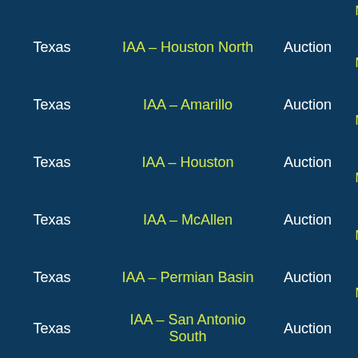| State | Location | Type | Map |
| --- | --- | --- | --- |
| Texas | IAA – Houston North | Auction | Go to Map |
| Texas | IAA – Amarillo | Auction | Go to Map |
| Texas | IAA – Houston | Auction | Go to Map |
| Texas | IAA – McAllen | Auction | Go to Map |
| Texas | IAA – Permian Basin | Auction | Go to Map |
| Texas | IAA – San Antonio South | Auction | Go to |